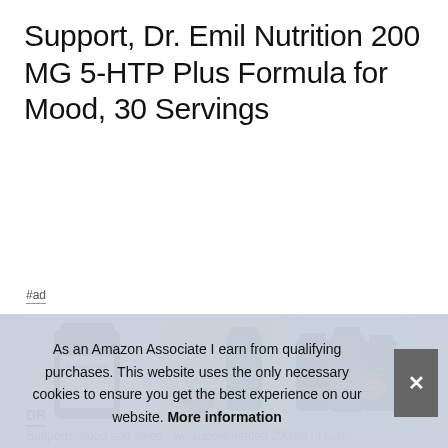Support, Dr. Emil Nutrition 200 MG 5-HTP Plus Formula for Mood, 30 Servings
#ad
[Figure (photo): Three product images of Dr. Emil Nutrition 5-HTP supplement bottles. First shows back label with Supplement Facts. Second shows bottle next to bowl of cherries on stone surface. Third shows three bottles with 'NEW LOOK' badge and dr. emil nutrition branding.]
DR
Supports mood and sleep - we supplemented 200mg of pure
As an Amazon Associate I earn from qualifying purchases. This website uses the only necessary cookies to ensure you get the best experience on our website. More information